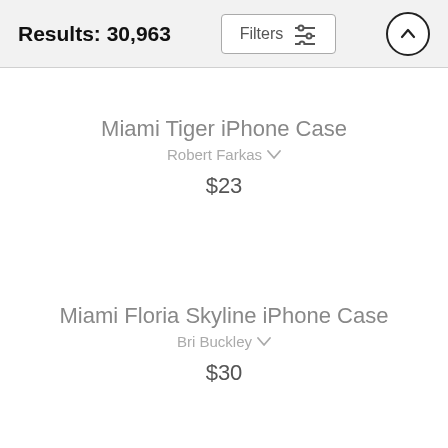Results: 30,963
Miami Tiger iPhone Case
Robert Farkas
$23
Miami Floria Skyline iPhone Case
Bri Buckley
$30